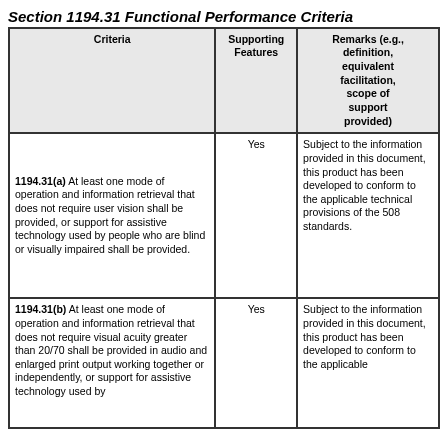Section 1194.31 Functional Performance Criteria
| Criteria | Supporting Features | Remarks (e.g., definition, equivalent facilitation, scope of support provided) |
| --- | --- | --- |
| 1194.31(a) At least one mode of operation and information retrieval that does not require user vision shall be provided, or support for assistive technology used by people who are blind or visually impaired shall be provided. | Yes | Subject to the information provided in this document, this product has been developed to conform to the applicable technical provisions of the 508 standards. |
| 1194.31(b) At least one mode of operation and information retrieval that does not require visual acuity greater than 20/70 shall be provided in audio and enlarged print output working together or independently, or support for assistive technology used by | Yes | Subject to the information provided in this document, this product has been developed to conform to the applicable |